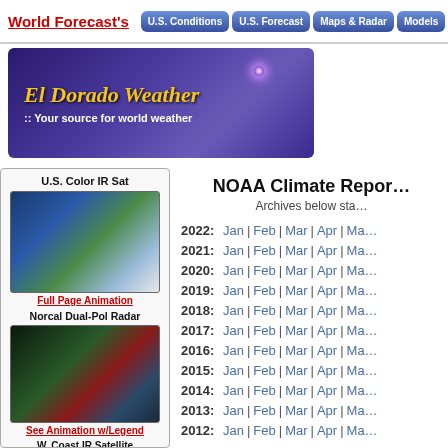World Forecast's | U.S. Conditions | U.S. Forecast | Maps & Radar | Models
[Figure (screenshot): El Dorado Weather banner — dark purple sky with star, italic gold text 'El Dorado Weather' and white subtitle ':: Your source for world weather']
U.S. Color IR Sat
[Figure (photo): U.S. Color IR Satellite image showing North America]
Full Page Animation
Norcal Dual-Pol Radar
[Figure (photo): Norcal Dual-Pol Radar image]
See Animation w/Legend
W. Coast IR Satellite
NOAA Climate Report
Archives below sta...
2022: Jan | Feb | Mar | Apr | Ma...
2021: Jan | Feb | Mar | Apr | Ma...
2020: Jan | Feb | Mar | Apr | Ma...
2019: Jan | Feb | Mar | Apr | Ma...
2018: Jan | Feb | Mar | Apr | Ma...
2017: Jan | Feb | Mar | Apr | Ma...
2016: Jan | Feb | Mar | Apr | Ma...
2015: Jan | Feb | Mar | Apr | Ma...
2014: Jan | Feb | Mar | Apr | Ma...
2013: Jan | Feb | Mar | Apr | Ma...
2012: Jan | Feb | Mar | Apr | Ma...